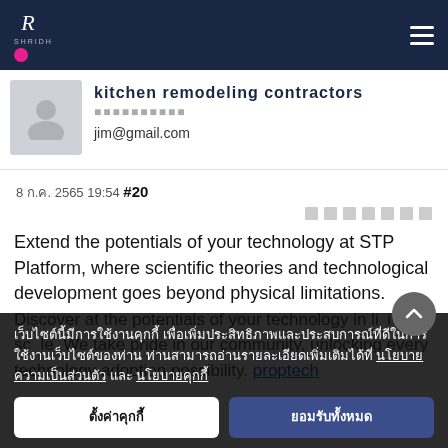kitchen remodeling contractors
​​​​​​​​​​
jim@gmail.com
8 ก.ค. 2565 19:54 #20
Extend the potentials of your technology at STP Platform, where scientific theories and technological development goes beyond physical limitations. Discover at the potentials of your technology in living scale. We take pride in our community, unlocking every technology adoption possibility. proptech
เว็บไซต์นี้มีการใช้งานคุกกี้ เพื่อเพิ่มประสิทธิภาพและประสบการณ์ที่ดีในการใช้งานเว็บไซต์ของท่าน ท่านสามารถอ่านรายละเอียดเพิ่มเติมได้ที่ นโยบายความเป็นส่วนตัว และ นโยบายคุกกี้
ตั้งค่าคุกกี้
ยอมรับทั้งหมด